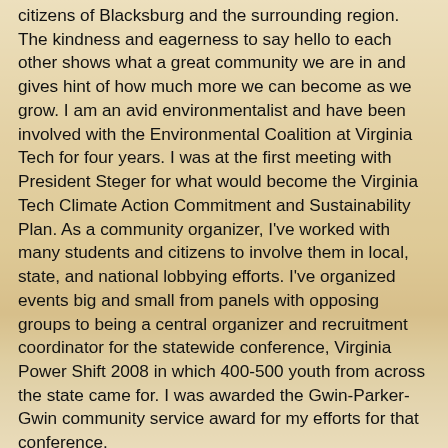citizens of Blacksburg and the surrounding region. The kindness and eagerness to say hello to each other shows what a great community we are in and gives hint of how much more we can become as we grow. I am an avid environmentalist and have been involved with the Environmental Coalition at Virginia Tech for four years. I was at the first meeting with President Steger for what would become the Virginia Tech Climate Action Commitment and Sustainability Plan. As a community organizer, I've worked with many students and citizens to involve them in local, state, and national lobbying efforts. I've organized events big and small from panels with opposing groups to being a central organizer and recruitment coordinator for the statewide conference, Virginia Power Shift 2008 in which 400-500 youth from across the state came for. I was awarded the Gwin-Parker-Gwin community service award for my efforts for that conference.
As the only undergraduate student running for Blacksburg Town Council, I have been reaching out to the student community through the creation of a Student Advisory Committee within the Student Government Association to